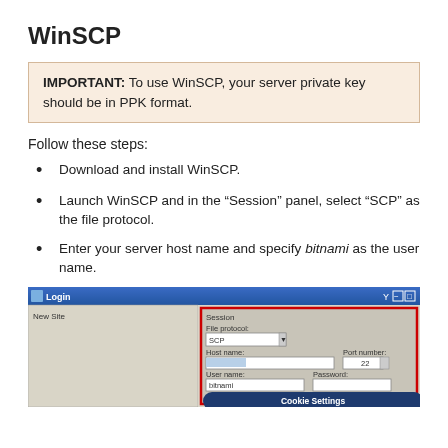WinSCP
IMPORTANT: To use WinSCP, your server private key should be in PPK format.
Follow these steps:
Download and install WinSCP.
Launch WinSCP and in the “Session” panel, select “SCP” as the file protocol.
Enter your server host name and specify bitnami as the user name.
[Figure (screenshot): WinSCP Login dialog showing Session panel with File protocol set to SCP, Host name field, Port number 22, User name field with 'bitnami' entered, and Password field. The Session panel area is highlighted with a red border.]